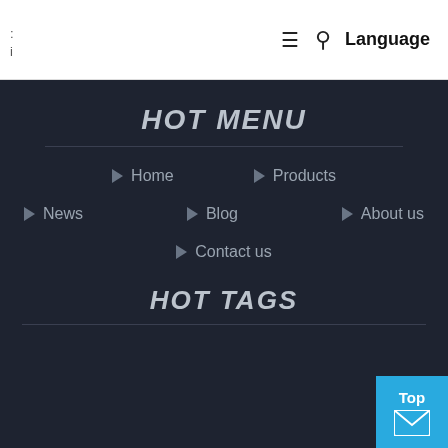Language
HOT MENU
Home
Products
News
Blog
About us
Contact us
HOT TAGS